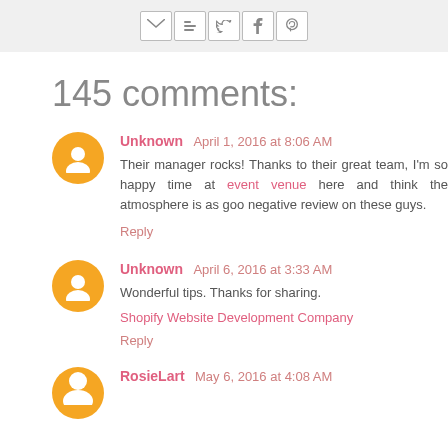[Social share icons: Gmail, Blogger, Twitter, Facebook, Pinterest]
145 comments:
Unknown  April 1, 2016 at 8:06 AM
Their manager rocks! Thanks to their great team, I'm so happy time at event venue here and think the atmosphere is as goo negative review on these guys.
Reply
Unknown  April 6, 2016 at 3:33 AM
Wonderful tips. Thanks for sharing.
Shopify Website Development Company
Reply
RosieLart  May 6, 2016 at 4:08 AM